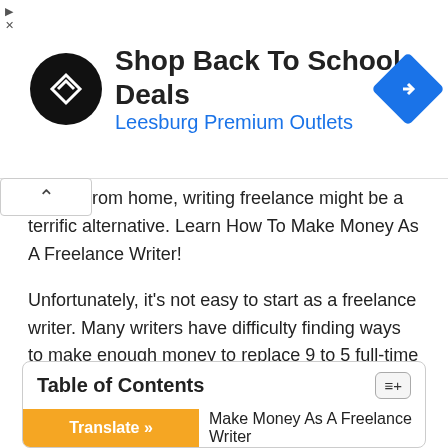[Figure (other): Advertisement banner: black circular logo with white arrow icon, title 'Shop Back To School Deals', subtitle 'Leesburg Premium Outlets', blue navigation diamond icon on right. Small play and close icons top-left corner.]
ncome from home, writing freelance might be a terrific alternative. Learn How To Make Money As A Freelance Writer!
Unfortunately, it's not easy to start as a freelance writer. Many writers have difficulty finding ways to make enough money to replace 9 to 5 full-time jobs.
They didn't know how to move away from low-paid customers who don't pay their money.
Table of Contents
Make Money As A Freelance Writer